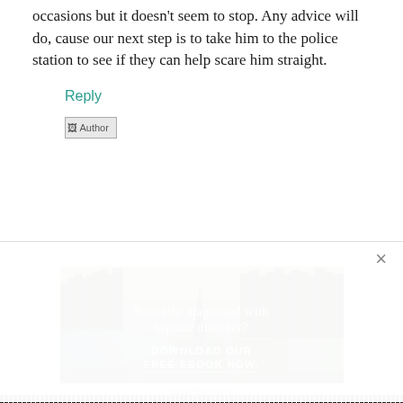occasions but it doesn't seem to stop. Any advice will do, cause our next step is to take him to the police station to see if they can help scare him straight.
Reply
[Figure (other): Author avatar placeholder image with text 'Author']
[Figure (photo): Advertisement banner showing a forest/river landscape with text 'Recently diagnosed with bipolar disorder? DOWNLOAD OUR FREE EBOOK NOW.' with a close button (×) in top right corner]
advertisement